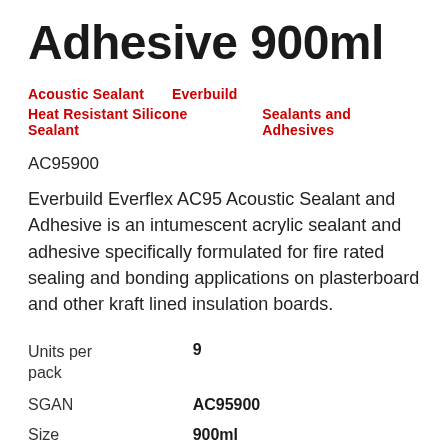Adhesive 900ml
Acoustic Sealant    Everbuild
Heat Resistant Silicone Sealant    Sealants and Adhesives
AC95900
Everbuild Everflex AC95 Acoustic Sealant and Adhesive is an intumescent acrylic sealant and adhesive specifically formulated for fire rated sealing and bonding applications on plasterboard and other kraft lined insulation boards.
| Units per pack | 9 |
| SGAN | AC95900 |
| Size | 900ml |